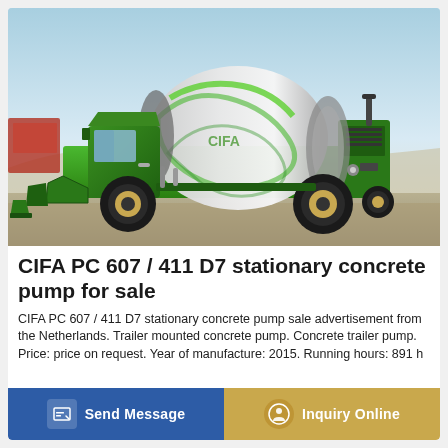[Figure (photo): Green CIFA PC 607/411 D7 self-loading concrete mixer truck/stationary concrete pump, photographed outdoors on gravel ground with sky and sandy terrain background. The machine is bright green with a large rotating drum mixer and front loading bucket.]
CIFA PC 607 / 411 D7 stationary concrete pump for sale
CIFA PC 607 / 411 D7 stationary concrete pump sale advertisement from the Netherlands. Trailer mounted concrete pump. Concrete trailer pump. Price: price on request. Year of manufacture: 2015. Running hours: 891 h